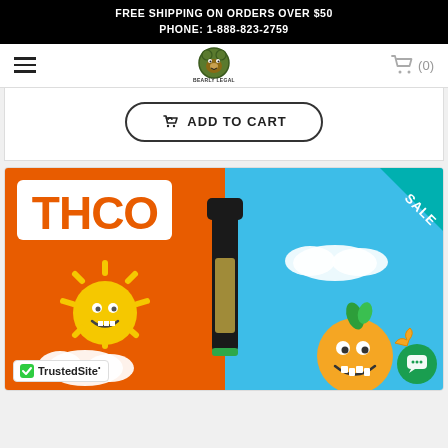FREE SHIPPING ON ORDERS OVER $50
PHONE: 1-888-823-2759
[Figure (screenshot): Navigation bar with hamburger menu, Bearly Legal Hemp Co logo, and cart icon showing (0)]
[Figure (other): Add to Cart button with shopping bag icon]
[Figure (illustration): THCO product image showing a vape cartridge with cartoon sun and orange characters on orange and blue background, with SALE ribbon in top right corner. TrustedSite badge at bottom left.]